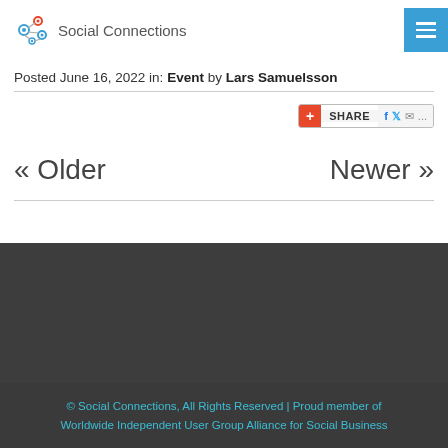Social Connections
Posted June 16, 2022 in: Event by Lars Samuelsson
[Figure (other): Share widget with plus button, SHARE label, and social icons (Facebook, Twitter, email, more)]
« Older    Newer »
© Social Connections, All Rights Reserved | Proud member of Worldwide Independent User Group Alliance for Social Business